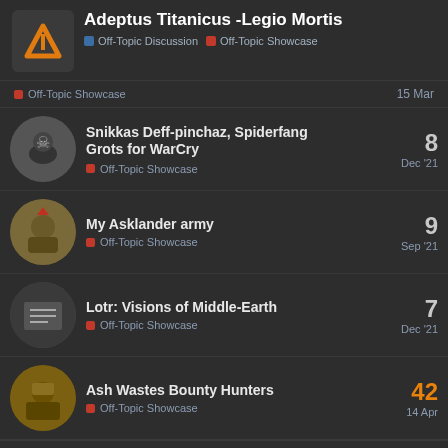Adeptus Titanicus -Legio Mortis | Off-Topic Discussion | Off-Topic Showcase
Off-Topic Showcase — 15 Mar
Snikkas Deff-pinchaz, Spiderfang Grots for WarCry — Off-Topic Showcase — Dec '21 — 8 replies
My Asklander army — Off-Topic Showcase — Sep '21 — 9 replies
Lotr: Visions of Middle-Earth — Off-Topic Showcase — Dec '21 — 7 replies
Ash Wastes Bounty Hunters — Off-Topic Showcase — 14 Apr — 42 replies
Want to read more? Browse other topics in Off-Topic Showcase or view latest topics.